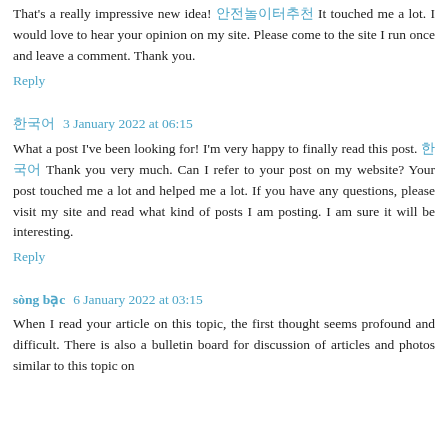That's a really impressive new idea! 한국어링크 It touched me a lot. I would love to hear your opinion on my site. Please come to the site I run once and leave a comment. Thank you.
Reply
한국어 3 January 2022 at 06:15
What a post I've been looking for! I'm very happy to finally read this post. 한국어 Thank you very much. Can I refer to your post on my website? Your post touched me a lot and helped me a lot. If you have any questions, please visit my site and read what kind of posts I am posting. I am sure it will be interesting.
Reply
sòng bạc  6 January 2022 at 03:15
When I read your article on this topic, the first thought seems profound and difficult. There is also a bulletin board for discussion of articles and photos similar to this topic on